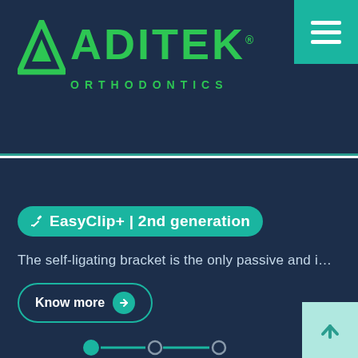[Figure (logo): Aditek Orthodontics logo with green triangle/mountain icon and green text on dark navy background]
[Figure (illustration): Hamburger menu icon (three white horizontal lines) on teal background in top-right corner]
EasyClip+ | 2nd generation
The self-ligating bracket is the only passive and i…
Know more
[Figure (infographic): Carousel navigation dots: filled teal circle, teal line, hollow circle, teal line, hollow circle]
[Figure (illustration): Back-to-top button with upward arrow on light teal background in bottom-right corner]